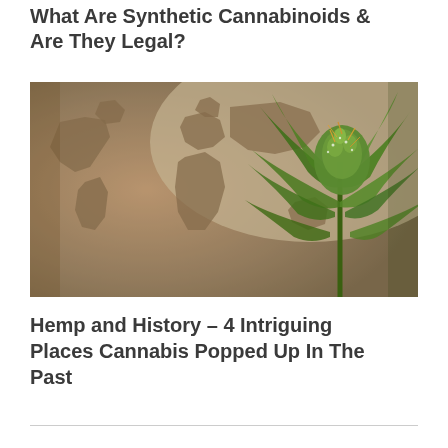What Are Synthetic Cannabinoids & Are They Legal?
[Figure (photo): Composite image showing a world map silhouette overlaid with a cannabis/marijuana plant bud in close-up on the right side, with warm brownish and green tones]
Hemp and History – 4 Intriguing Places Cannabis Popped Up In The Past